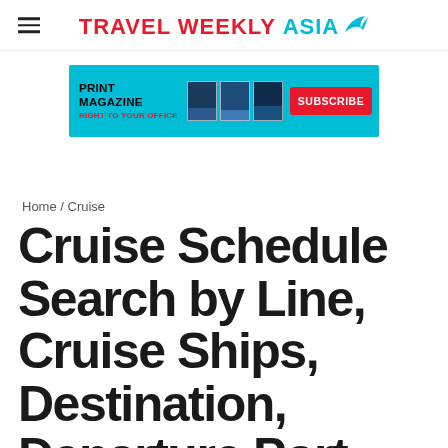TRAVEL WEEKLY ASIA
[Figure (infographic): Travel Weekly Asia print magazine subscription advertisement banner with cyan background, magazine covers, and red Subscribe button. Text reads: PRINT MAGAZINE RIGHT TO YOUR OFFICE]
Home / Cruise
Cruise Schedule Search by Line, Cruise Ships, Destination, Departure Port, Sailing